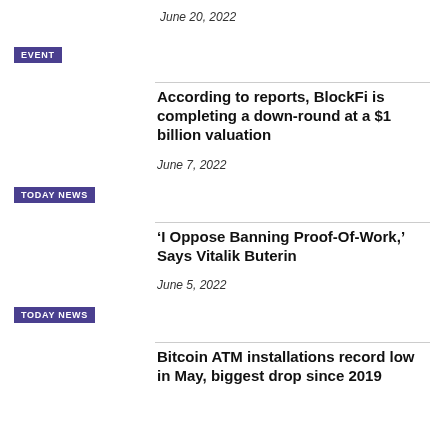June 20, 2022
EVENT
According to reports, BlockFi is completing a down-round at a $1 billion valuation
June 7, 2022
TODAY NEWS
‘I Oppose Banning Proof-Of-Work,’ Says Vitalik Buterin
June 5, 2022
TODAY NEWS
Bitcoin ATM installations record low in May, biggest drop since 2019